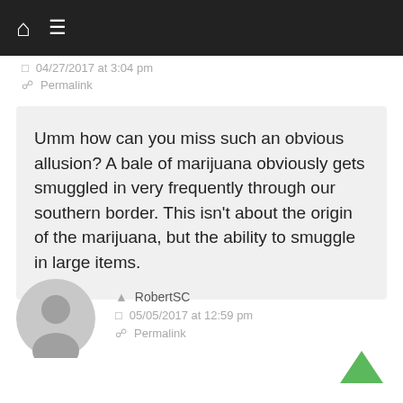Navigation bar with home and menu icons
04/27/2017 at 3:04 pm
Permalink
Umm how can you miss such an obvious allusion? A bale of marijuana obviously gets smuggled in very frequently through our southern border. This isn't about the origin of the marijuana, but the ability to smuggle in large items.
RobertSC
05/05/2017 at 12:59 pm
Permalink